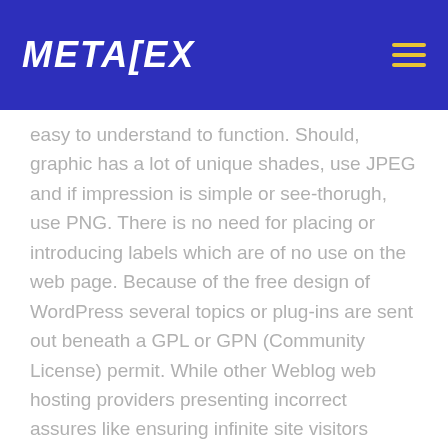METALEX
easy to understand to function. Should, graphic has a lot of unique shades, use JPEG and if impression is simple or see-thorugh, use PNG. There is no need for placing or introducing labels which are of no use on the web page. Because of the free design of WordPress several topics or plug-ins are sent out beneath a GPL or GPN (Community License) permit. While other Weblog web hosting providers presenting incorrect assures like ensuring infinite site visitors every month, WP Engine is fairly start regarding their blueprints and so they reduce the website visitors each month. Being a a lot more broad thing to consider, there isn't any need to restrict your self to